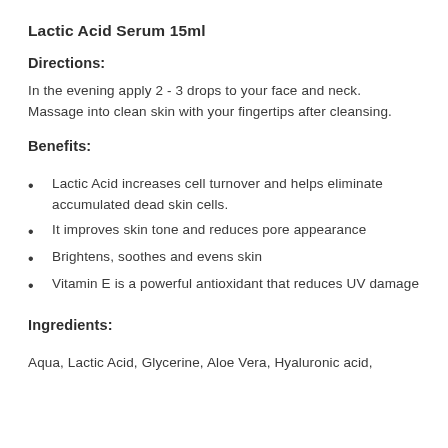Lactic Acid Serum 15ml
Directions:
In the evening apply 2 - 3 drops to your face and neck. Massage into clean skin with your fingertips after cleansing.
Benefits:
Lactic Acid increases cell turnover and helps eliminate accumulated dead skin cells.
It improves skin tone and reduces pore appearance
Brightens, soothes and evens skin
Vitamin E is a powerful antioxidant that reduces UV damage
Ingredients:
Aqua, Lactic Acid, Glycerine, Aloe Vera, Hyaluronic acid,